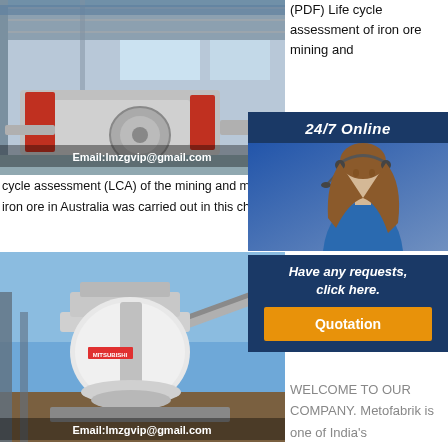[Figure (photo): Industrial mining crushing machine in large warehouse facility, Email:lmzgvip@gmail.com overlay]
(PDF) Life cycle assessment of iron ore mining and 202... of ir... capi... inter...
cycle assessment (LCA) of the mining and mineral processing of iron ore in Australia was carried out in this chapter.
[Figure (infographic): 24/7 Online support widget with woman wearing headset, tagline 'Have any requests, click here.' and Quotation button]
[Figure (photo): Iron ore mining crushing equipment outdoors, Email:lmzgvip@gmail.com overlay]
Iron... ben... equipments manufacturers & WELCOME TO OUR COMPANY. Metofabrik is one of India's leading manufacturers of machines, especially for the...